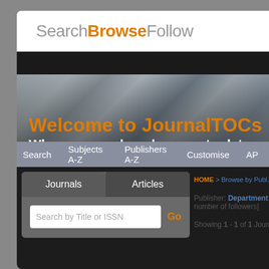SearchBrowseFollow
[Figure (screenshot): JournalTOCs website hero banner with blurred bookshelves background, showing 'Welcome to JournalTOCs' in orange and 'Where researchers keep up-to-date' in white]
Search  Subjects A-Z  Publishers A-Z  Customise  API
Journals   Articles
Search by Title or ISSN  Go
HOME > Browse by Publisher
Publisher: Department o... number of followers]
Showing 1 - 1 of 1 Journ...